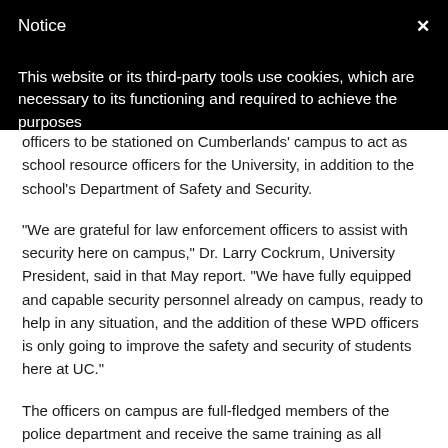Notice  ×
This website or its third-party tools use cookies, which are necessary to its functioning and required to achieve the purposes
officers to be stationed on Cumberlands' campus to act as school resource officers for the University, in addition to the school's Department of Safety and Security.
“We are grateful for law enforcement officers to assist with security here on campus,” Dr. Larry Cockrum, University President, said in that May report. “We have fully equipped and capable security personnel already on campus, ready to help in any situation, and the addition of these WPD officers is only going to improve the safety and security of students here at UC.”
The officers on campus are full-fledged members of the police department and receive the same training as all